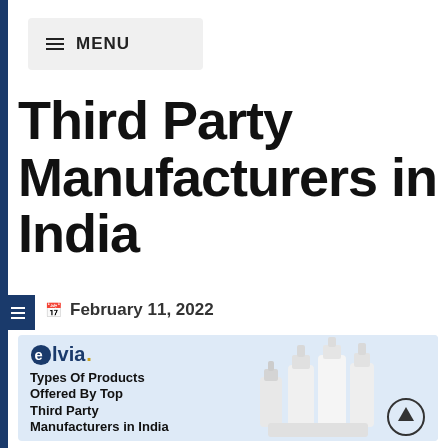MENU
Third Party Manufacturers in India
February 11, 2022
[Figure (photo): Elvia branded promotional image showing white dropper bottles and containers with text 'Types Of Products Offered By Top Third Party Manufacturers in India']